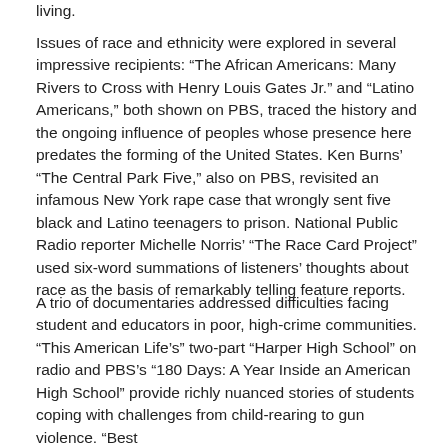living.
Issues of race and ethnicity were explored in several impressive recipients: “The African Americans: Many Rivers to Cross with Henry Louis Gates Jr.” and “Latino Americans,” both shown on PBS, traced the history and the ongoing influence of peoples whose presence here predates the forming of the United States. Ken Burns’ “The Central Park Five,” also on PBS, revisited an infamous New York rape case that wrongly sent five black and Latino teenagers to prison. National Public Radio reporter Michelle Norris’ “The Race Card Project” used six-word summations of listeners’ thoughts about race as the basis of remarkably telling feature reports.
A trio of documentaries addressed difficulties facing student and educators in poor, high-crime communities. “This American Life’s” two-part “Harper High School” on radio and PBS’s “180 Days: A Year Inside an American High School” provide richly nuanced stories of students coping with challenges from child-rearing to gun violence. “Best